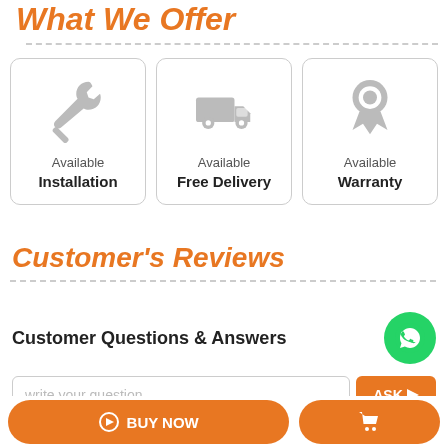What We Offer
[Figure (infographic): Three service cards: Available Installation (wrench icon), Available Free Delivery (truck icon), Available Warranty (medal/ribbon icon)]
Customer's Reviews
Customer Questions & Answers
[Figure (logo): WhatsApp green circle button with phone icon]
write your question
ASK
BUY NOW
[Figure (illustration): Shopping cart icon button]